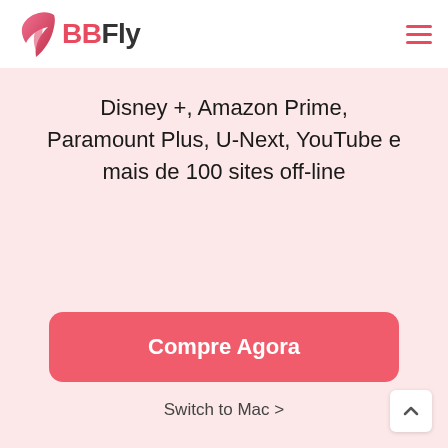BBFly
Disney +, Amazon Prime, Paramount Plus, U-Next, YouTube e mais de 100 sites off-line
Compre Agora
Switch to Mac >